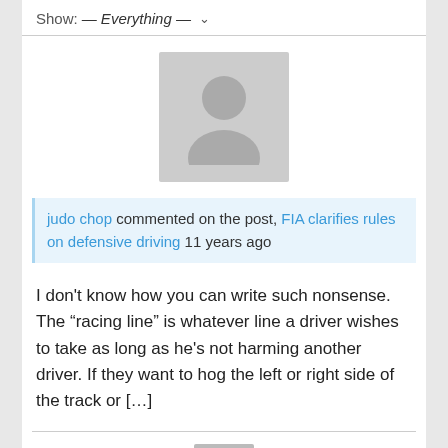Show: — Everything —
[Figure (illustration): Gray placeholder avatar image (large), showing a generic person silhouette]
judo chop commented on the post, FIA clarifies rules on defensive driving 11 years ago
I don't know how you can write such nonsense. The “racing line” is whatever line a driver wishes to take as long as he's not harming another driver. If they want to hog the left or right side of the track or [...]
[Figure (illustration): Gray placeholder avatar image (small), showing a generic person silhouette]
judo chop changed their profile picture 11 years ago